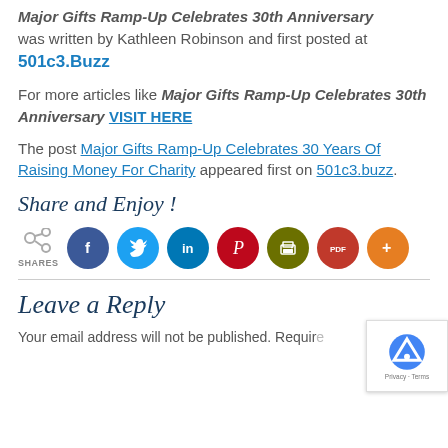Major Gifts Ramp-Up Celebrates 30th Anniversary was written by Kathleen Robinson and first posted at 501c3.Buzz
For more articles like Major Gifts Ramp-Up Celebrates 30th Anniversary VISIT HERE
The post Major Gifts Ramp-Up Celebrates 30 Years Of Raising Money For Charity appeared first on 501c3.buzz.
Share and Enjoy !
[Figure (infographic): Share icons row: share count icon labeled SHARES, then circular social media buttons for Facebook, Twitter, LinkedIn, Pinterest, Print, PDF, and More (+)]
Leave a Reply
Your email address will not be published. Required fields are marked